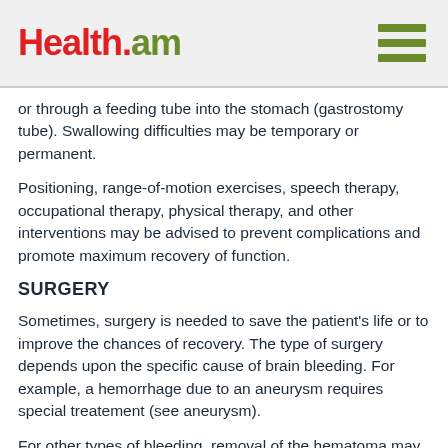Health.am
or through a feeding tube into the stomach (gastrostomy tube). Swallowing difficulties may be temporary or permanent.
Positioning, range-of-motion exercises, speech therapy, occupational therapy, physical therapy, and other interventions may be advised to prevent complications and promote maximum recovery of function.
SURGERY
Sometimes, surgery is needed to save the patient's life or to improve the chances of recovery. The type of surgery depends upon the specific cause of brain bleeding. For example, a hemorrhage due to an aneurysm requires special treatement (see aneurysm).
For other types of bleeding, removal of the hematoma may occasionally be needed, especially when bleeding occurs in the back of the brain. Some physicians are currently